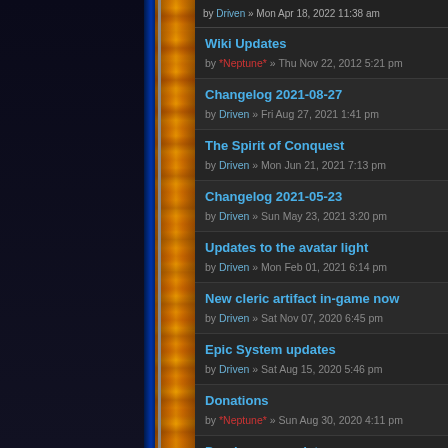by Driven » Mon Apr 18, 2022 11:38 am
Wiki Updates
by *Neptune* » Thu Nov 22, 2012 5:21 pm
Changelog 2021-08-27
by Driven » Fri Aug 27, 2021 1:41 pm
The Spirit of Conquest
by Driven » Mon Jun 21, 2021 7:13 pm
Changelog 2021-05-23
by Driven » Sun May 23, 2021 3:20 pm
Updates to the avatar light
by Driven » Mon Feb 01, 2021 6:14 pm
New cleric artifact in-game now
by Driven » Sat Nov 07, 2020 6:45 pm
Epic System updates
by Driven » Sat Aug 15, 2020 5:46 pm
Donations
by *Neptune* » Sun Aug 30, 2020 4:11 pm
Drachma eq updates